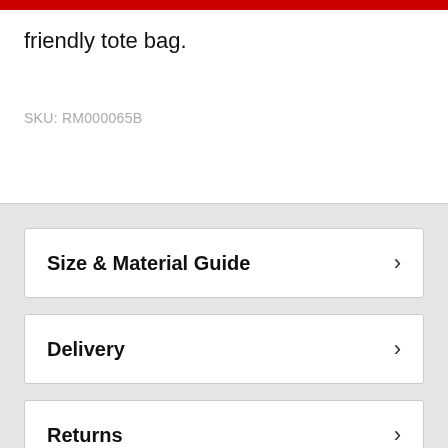friendly tote bag.
SKU: RM000065B
Size & Material Guide
Delivery
Returns
About Us / Our Ethos